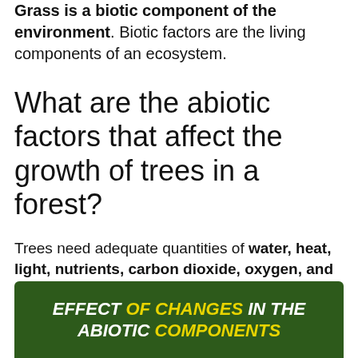Grass is a biotic component of the environment. Biotic factors are the living components of an ecosystem.
What are the abiotic factors that affect the growth of trees in a forest?
Trees need adequate quantities of water, heat, light, nutrients, carbon dioxide, oxygen, and other abiotic resources to sustain life, growth, and reproduction. When these factors are deficient or excessive, they cause mortality.
[Figure (other): Dark green banner with bold italic white and yellow text reading 'EFFECT OF CHANGES IN THE ABIOTIC COMPONENTS']